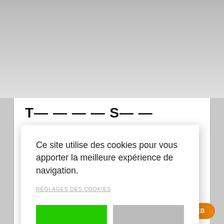[Figure (screenshot): A cookie consent modal dialog overlay on a webpage. The background shows a gray gradient area at top and white content area below. A modal dialog with white background and shadow contains cookie consent text in French, a settings link, and two buttons: green ACCEPTER and gray REFUSER. A small orange pill-shaped SITE WEB button appears at bottom right.]
Ce site utilise des cookies pour vous apporter la meilleure expérience de navigation.
RÉGLAGES DES COOKIES
ACCEPTER
REFUSER
SITE WEB